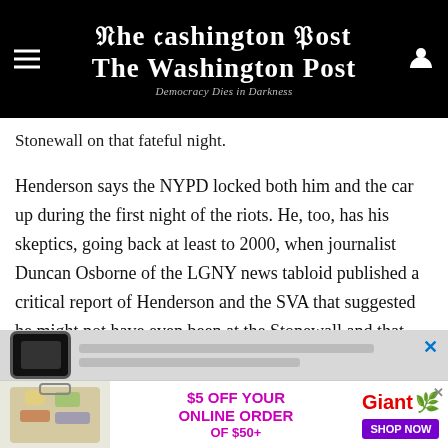The Washington Post — Democracy Dies in Darkness
Stonewall on that fateful night.
Henderson says the NYPD locked both him and the car up during the first night of the riots. He, too, has his skeptics, going back at least to 2000, when journalist Duncan Osborne of the LGNY news tabloid published a critical report of Henderson and the SVA that suggested he might not have even been at the Stonewall and that there was no record of any cars being towed. (Carter also found no evidence to support any of Henderson's claims.)
[Figure (screenshot): Advertisement banner: $5 OFF YOUR ONLINE ORDER OF $50+ from Giant grocery store with Shop Now button and grocery bag imagery]